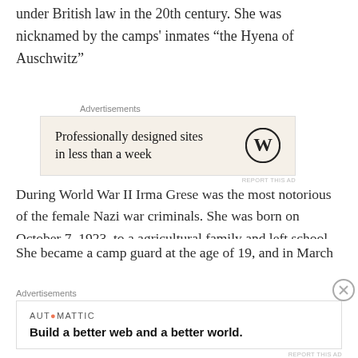under British law in the 20th century. She was nicknamed by the camps' inmates “the Hyena of Auschwitz”
[Figure (other): Advertisement banner: Professionally designed sites in less than a week (WordPress logo)]
During World War II Irma Grese was the most notorious of the female Nazi war criminals. She was born on October 7, 1923, to a agricultural family and left school in 1938 at the age of 15. She worked on a farm for six months, then in a shop and later for two years in a hospital. Then she was sent to work at the Ravensbrück Concentration Camp.
She became a camp guard at the age of 19, and in March
[Figure (other): Advertisement banner: Automattic - Build a better web and a better world.]